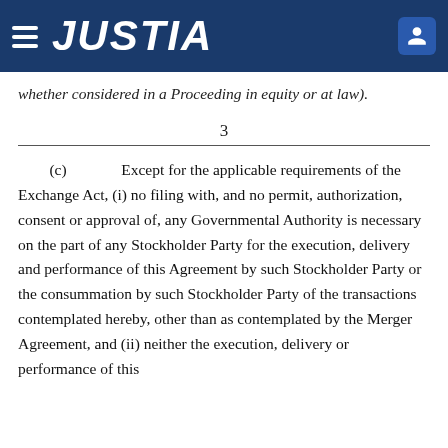JUSTIA
whether considered in a Proceeding in equity or at law).
3
(c)        Except for the applicable requirements of the Exchange Act, (i) no filing with, and no permit, authorization, consent or approval of, any Governmental Authority is necessary on the part of any Stockholder Party for the execution, delivery and performance of this Agreement by such Stockholder Party or the consummation by such Stockholder Party of the transactions contemplated hereby, other than as contemplated by the Merger Agreement, and (ii) neither the execution, delivery or performance of this